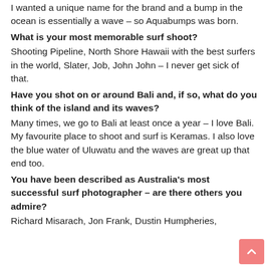I wanted a unique name for the brand and a bump in the ocean is essentially a wave – so Aquabumps was born.
What is your most memorable surf shoot?
Shooting Pipeline, North Shore Hawaii with the best surfers in the world, Slater, Job, John John – I never get sick of that.
Have you shot on or around Bali and, if so, what do you think of the island and its waves?
Many times, we go to Bali at least once a year – I love Bali. My favourite place to shoot and surf is Keramas. I also love the blue water of Uluwatu and the waves are great up that end too.
You have been described as Australia's most successful surf photographer – are there others you admire?
Richard Misarach, Jon Frank, Dustin Humpheries,